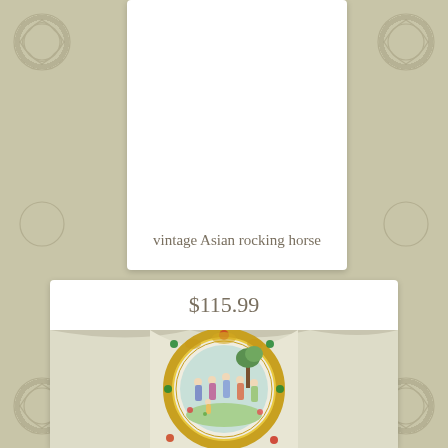[Figure (photo): Vintage Asian dark lacquered rocking horse figurine with decorative inlay panels, photographed against a pink/mauve fabric background]
vintage Asian rocking horse
$115.99
[Figure (photo): Decorative Asian porcelain plate with ornate gold floral border and a hand-painted scene depicting figures in traditional Chinese dress in a garden setting]